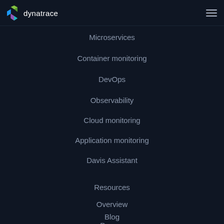dynatrace
Microservices
Container monitoring
DevOps
Observability
Cloud monitoring
Application monitoring
Davis Assistant
Resources
Overview
Blog
Demos